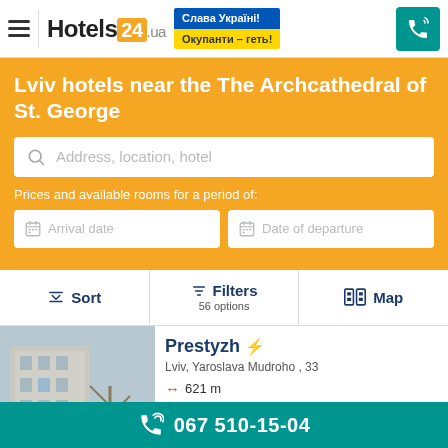Hotels24.ua — Слава Україні! Окупанти – геть! — Phone: 067 510-15-04
Lviv hotels near the The Archcathedral of St. George
Address, location, hotel
Prices and available rooms for a period of:
Arrival date
Date of departure
Sort | Filters 56 options | Map
Prestyzh
Lviv, Yaroslava Mudroho , 33
621 m
Excellent, 8.9  (142 reviews)
No prepayment
067 510-15-04